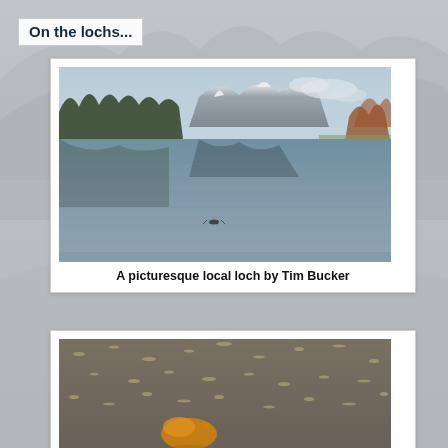On the lochs...
[Figure (photo): A scenic Scottish loch with calm reflective water, dense trees on a peninsula, snow-capped mountains in the background, and a lone bird or kayaker in the middle of the water.]
A picturesque local loch by Tim Bucker
[Figure (photo): A close-up nature photo at water level with a golden/orange object (possibly a duck or floating item) visible on a textured rippling water surface.]